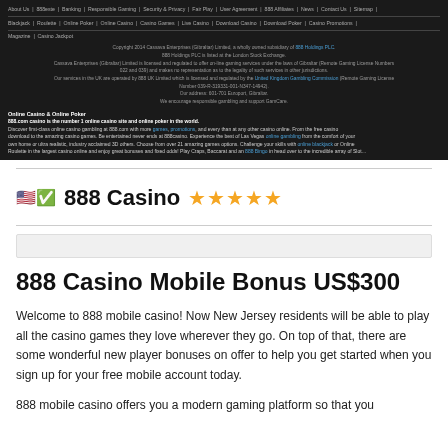[Figure (screenshot): Screenshot of 888 Casino website footer showing navigation links, copyright information, and site description text on dark background.]
🇺🇸 ✅ 888 Casino ⭐⭐⭐⭐⭐
888 Casino Mobile Bonus US$300
Welcome to 888 mobile casino! Now New Jersey residents will be able to play all the casino games they love wherever they go. On top of that, there are some wonderful new player bonuses on offer to help you get started when you sign up for your free mobile account today.
888 mobile casino offers you a modern gaming platform so that you